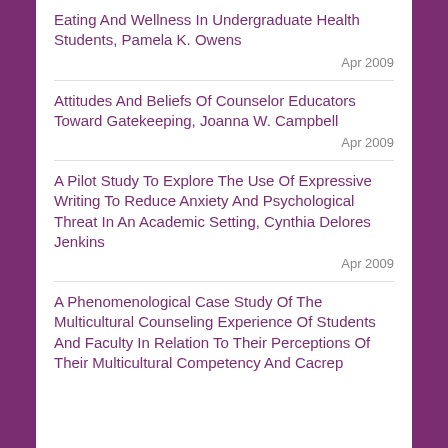Eating And Wellness In Undergraduate Health Students, Pamela K. Owens
Apr 2009
Attitudes And Beliefs Of Counselor Educators Toward Gatekeeping, Joanna W. Campbell
Apr 2009
A Pilot Study To Explore The Use Of Expressive Writing To Reduce Anxiety And Psychological Threat In An Academic Setting, Cynthia Delores Jenkins
Apr 2009
A Phenomenological Case Study Of The Multicultural Counseling Experience Of Students And Faculty In Relation To Their Perceptions Of Their Multicultural Competency And Cacrep